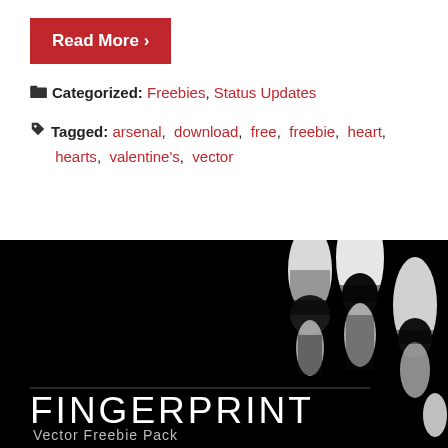Read More ›
Categorized: Freebies, Status Updates
Tagged: arsenal, download, free, freebie, heart, hearts, valentine's, vector
[Figure (photo): Black background with white fingerprint/handprint impressions showing 4 fingers. Text overlay reads 'FINGERPRINT Vector Freebie Pack' with a horizontal rule above the text.]